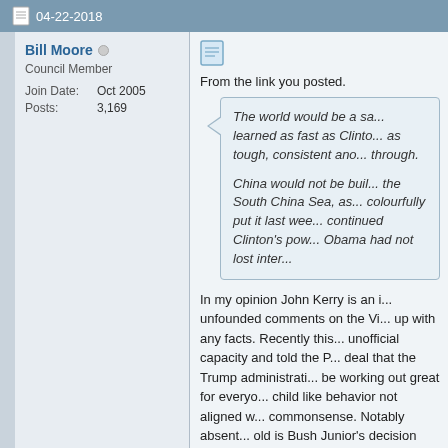04-22-2018
Bill Moore
Council Member
Join Date: Oct 2005
Posts: 3,169
From the link you posted.
The world would be a sa... learned as fast as Clinto... as tough, consistent ano... through.

China would not be buil... the South China Sea, as... colourfully put it last wee... continued Clinton's pow... Obama had not lost inter...
In my opinion John Kerry is an i... unfounded comments on the Vi... up with any facts. Recently this... unofficial capacity and told the P... deal that the Trump administrati... be working out great for everyo... child like behavior not aligned w... commonsense. Notably absent... old is Bush Junior's decision to... opinion of many was the greate... and the subsequent commitmen... increase their hegemonis h...